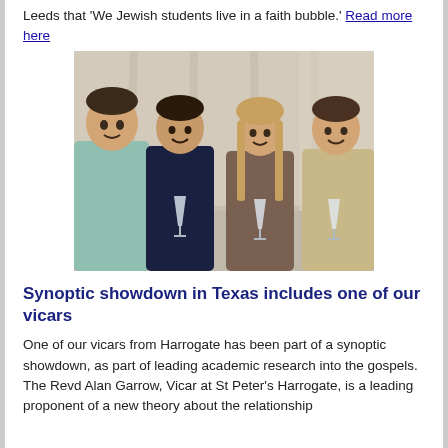Leeds that 'We Jewish students live in a faith bubble.' Read more here
[Figure (photo): Four young people standing together holding champagne flutes, smiling at the camera, with a curtained background.]
Synoptic showdown in Texas includes one of our vicars
One of our vicars from Harrogate has been part of a synoptic showdown, as part of leading academic research into the gospels. The Revd Alan Garrow, Vicar at St Peter's Harrogate, is a leading proponent of a new theory about the relationship